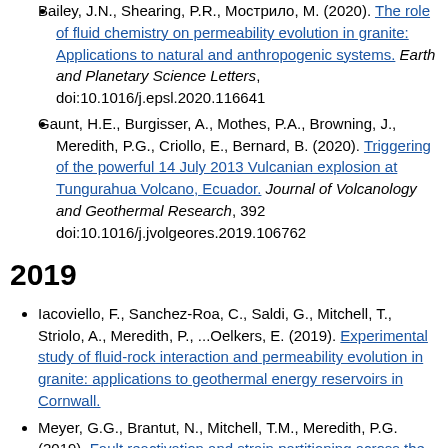Bailey, J.N., Shearing, P.R., Mострилo, M. (2020). The role of fluid chemistry on permeability evolution in granite: Applications to natural and anthropogenic systems. Earth and Planetary Science Letters, doi:10.1016/j.epsl.2020.116641
Gaunt, H.E., Burgisser, A., Mothes, P.A., Browning, J., Meredith, P.G., Criollo, E., Bernard, B. (2020). Triggering of the powerful 14 July 2013 Vulcanian explosion at Tungurahua Volcano, Ecuador. Journal of Volcanology and Geothermal Research, 392 doi:10.1016/j.jvolgeores.2019.106762
2019
Iacoviello, F., Sanchez-Roa, C., Saldi, G., Mitchell, T., Striolo, A., Meredith, P., ...Oelkers, E. (2019). Experimental study of fluid-rock interaction and permeability evolution in granite: applications to geothermal energy reservoirs in Cornwall.
Meyer, G.G., Brantut, N., Mitchell, T.M., Meredith, P.G. (2019). Fault reactivation and strain partitioning across the brittle-ductile transition. GEOLOGY, 47 (12), 1127-1130. doi:10.1130/G46516.1
Jefferd, M., Brantut, N., Meredith, P., Mitchell, T. (2019). The temperature dependence of sandstone compaction.